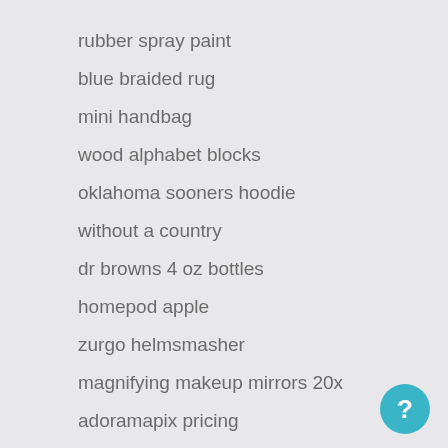rubber spray paint
blue braided rug
mini handbag
wood alphabet blocks
oklahoma sooners hoodie
without a country
dr browns 4 oz bottles
homepod apple
zurgo helmsmasher
magnifying makeup mirrors 20x
adoramapix pricing